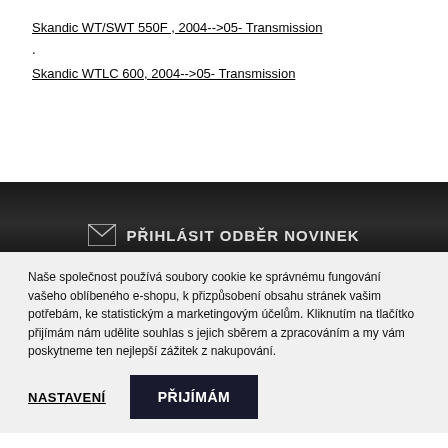Skandic WT/SWT 550F , 2004-->05- Transmission
.
Skandic WTLC 600, 2004-->05- Transmission
[Figure (screenshot): Dark background section with envelope icon and text 'PŘIHLÁSIT ODBĚR NOVINEK' partially visible]
Naše společnost používá soubory cookie ke správnému fungování vašeho oblíbeného e-shopu, k přizpůsobení obsahu stránek vašim potřebám, ke statistickým a marketingovým účelům. Kliknutím na tlačítko přijímám nám udělite souhlas s jejich sběrem a zpracováním a my vám poskytneme ten nejlepší zážitek z nakupování.
NASTAVENÍ
PŘIJÍMÁM